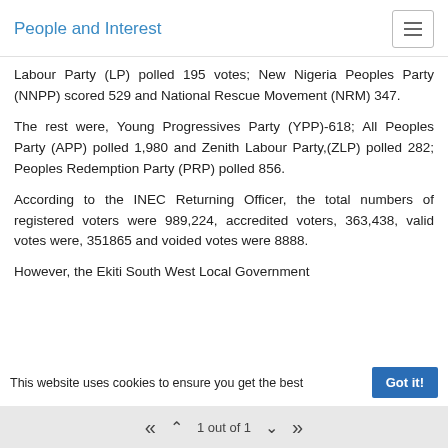People and Interest
Labour Party (LP) polled 195 votes; New Nigeria Peoples Party (NNPP) scored 529 and National Rescue Movement (NRM) 347.
The rest were, Young Progressives Party (YPP)-618; All Peoples Party (APP) polled 1,980 and Zenith Labour Party,(ZLP) polled 282; Peoples Redemption Party (PRP) polled 856.
According to the INEC Returning Officer, the total numbers of registered voters were 989,224, accredited voters, 363,438, valid votes were, 351865 and voided votes were 8888.
However, the Ekiti South West Local Government
1 out of 1